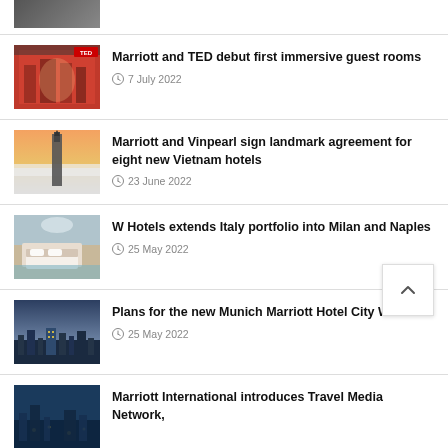[Figure (photo): Partial hotel article image at top]
[Figure (photo): Marriott and TED immersive guest rooms - decorative hotel room image]
Marriott and TED debut first immersive guest rooms
7 July 2022
[Figure (photo): Tall tower rising above clouds at sunset - Vietnam hotels]
Marriott and Vinpearl sign landmark agreement for eight new Vietnam hotels
23 June 2022
[Figure (photo): Luxury hotel room with bed - W Hotels Italy]
W Hotels extends Italy portfolio into Milan and Naples
25 May 2022
[Figure (photo): Aerial view of Munich city - Munich Marriott Hotel City West]
Plans for the new Munich Marriott Hotel City West
25 May 2022
[Figure (photo): Partial bottom article image - Marriott International Travel Media Network]
Marriott International introduces Travel Media Network,